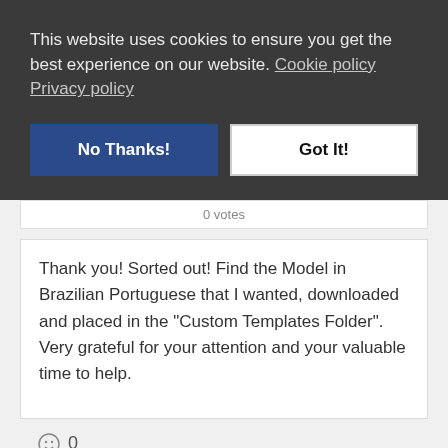This website uses cookies to ensure you get the best experience on our website. Cookie policy Privacy policy
No Thanks!
Got It!
0 votes
Thank you! Sorted out! Find the Model in Brazilian Portuguese that I wanted, downloaded and placed in the "Custom Templates Folder". Very grateful for your attention and your valuable time to help.
0
Marc